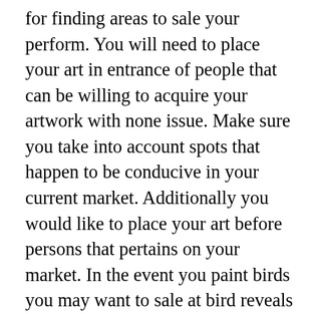for finding areas to sale your perform. You will need to place your art in entrance of people that can be willing to acquire your artwork with none issue. Make sure you take into account spots that happen to be conducive in your current market. Additionally you would like to place your art before persons that pertains on your market. In the event you paint birds you may want to sale at bird reveals or quite a few present retailers. Considering that I paint illustrations or photos of musicians participating in unique devices I utilize to new music festivals. Do the thing is what I seeking to get at.